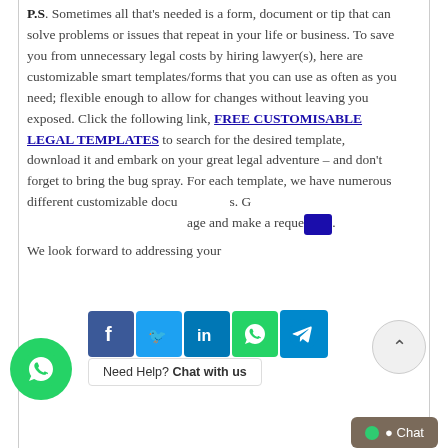P.S. Sometimes all that's needed is a form, document or tip that can solve problems or issues that repeat in your life or business. To save you from unnecessary legal costs by hiring lawyer(s), here are customizable smart templates/forms that you can use as often as you need; flexible enough to allow for changes without leaving you exposed. Click the following link, FREE CUSTOMISABLE LEGAL TEMPLATES to search for the desired template, download it and embark on your great legal adventure – and don't forget to bring the bug spray. For each template, we have numerous different customizable documents. Go to our contact page and make a request.
We look forward to addressing your